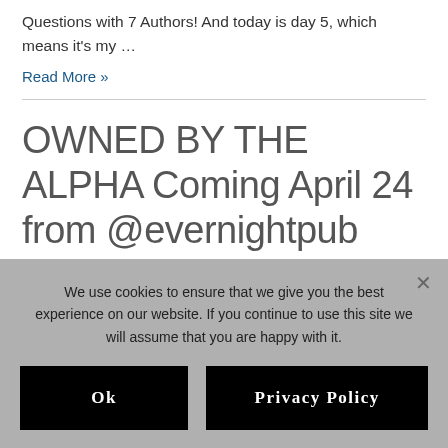Questions with 7 Authors! And today is day 5, which means it's my …
Read More »
OWNED BY THE ALPHA Coming April 24 from @evernightpub #CoverReveal #Anthology
We use cookies to ensure that we give you the best experience on our website. If you continue to use this site we will assume that you are happy with it.